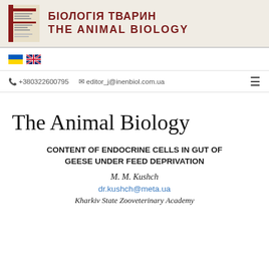[Figure (logo): Journal header with cover image and bilingual title БІОЛОГІЯ ТВАРИН / THE ANIMAL BIOLOGY in dark red bold text on beige background]
+380322600795  editor_j@inenbiol.com.ua
The Animal Biology
CONTENT OF ENDOCRINE CELLS IN GUT OF GEESE UNDER FEED DEPRIVATION
M. M. Kushch
dr.kushch@meta.ua
Kharkiv State Zooveterinary Academy